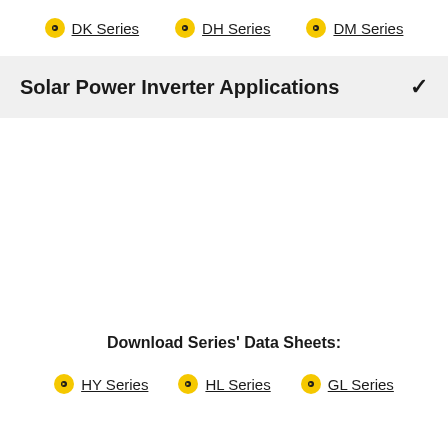DK Series
DH Series
DM Series
Solar Power Inverter Applications
Download Series' Data Sheets:
HY Series
HL Series
GL Series